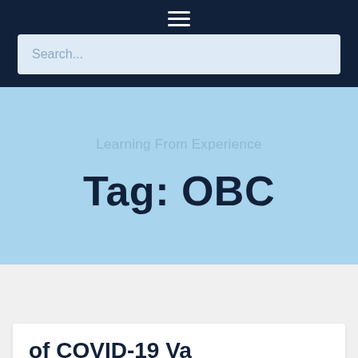≡
Search...
Learning From Experience
Tag: OBC
of COVID-19 Va